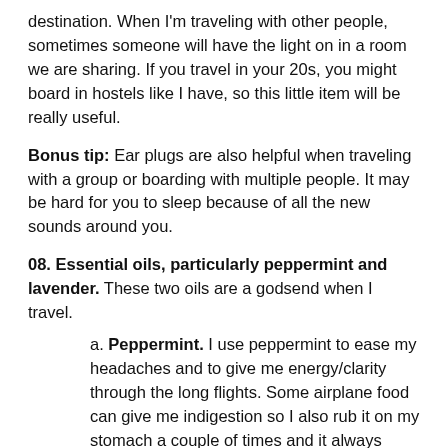destination. When I'm traveling with other people, sometimes someone will have the light on in a room we are sharing. If you travel in your 20s, you might board in hostels like I have, so this little item will be really useful.
Bonus tip: Ear plugs are also helpful when traveling with a group or boarding with multiple people. It may be hard for you to sleep because of all the new sounds around you.
08. Essential oils, particularly peppermint and lavender. These two oils are a godsend when I travel.
a. Peppermint. I use peppermint to ease my headaches and to give me energy/clarity through the long flights. Some airplane food can give me indigestion so I also rub it on my stomach a couple of times and it always eases any uncomfortable feelings.